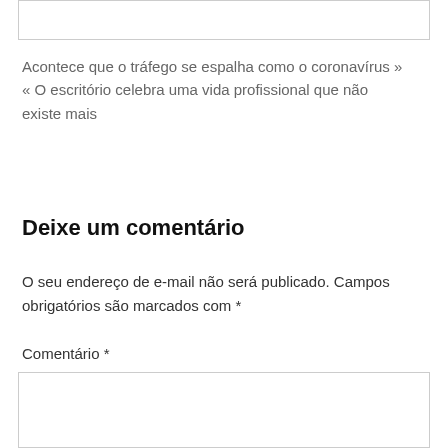Acontece que o tráfego se espalha como o coronavírus » « O escritório celebra uma vida profissional que não existe mais
Deixe um comentário
O seu endereço de e-mail não será publicado. Campos obrigatórios são marcados com *
Comentário *